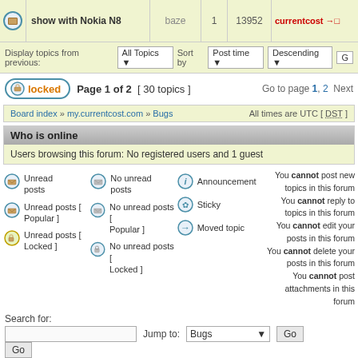| [icon] | show with Nokia N8 | baze | 1 | 13952 | currentcost →□ |
Display topics from previous: All Topics ▼  Sort by  Post time ▼  Descending ▼  G
locked  Page 1 of 2  [ 30 topics ]  Go to page 1, 2  Next
Board index » my.currentcost.com » Bugs   All times are UTC [ DST ]
Who is online
Users browsing this forum: No registered users and 1 guest
Unread posts | No unread posts | Announcement | You cannot post new topics in this forum
Unread posts [ Popular ] | No unread posts [ Popular ] | Sticky | You cannot reply to topics in this forum
Unread posts [ Locked ] | No unread posts [ Locked ] | Moved topic | You cannot edit your posts in this forum
You cannot delete your posts in this forum
You cannot post attachments in this forum
Search for:
Jump to: Bugs ▼  Go
Go
Powered by phpBB® Forum Software © phpBB Group